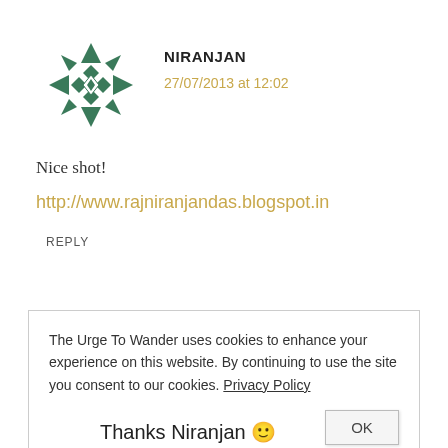[Figure (logo): Green geometric/kaleidoscope pattern avatar for user Niranjan]
NIRANJAN
27/07/2013 at 12:02
Nice shot!
http://www.rajniranjandas.blogspot.in
REPLY
The Urge To Wander uses cookies to enhance your experience on this website. By continuing to use the site you consent to our cookies. Privacy Policy
OK
Thanks Niranjan 🙂